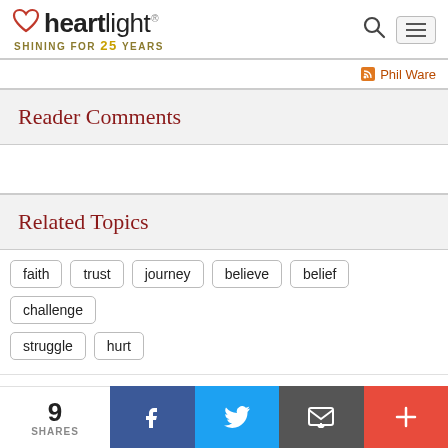heartlight® SHINING FOR 25 YEARS
Phil Ware
Reader Comments
Related Topics
faith
trust
journey
believe
belief
challenge
struggle
hurt
9 SHARES